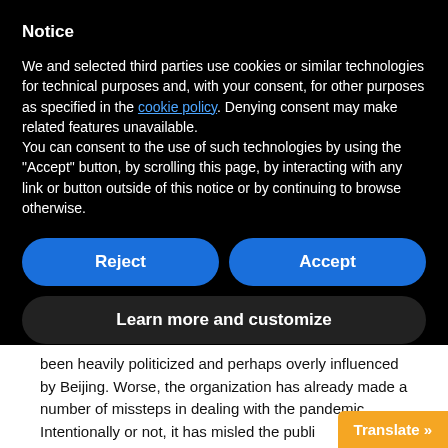Notice
We and selected third parties use cookies or similar technologies for technical purposes and, with your consent, for other purposes as specified in the cookie policy. Denying consent may make related features unavailable.
You can consent to the use of such technologies by using the "Accept" button, by scrolling this page, by interacting with any link or button outside of this notice or by continuing to browse otherwise.
Reject
Accept
Learn more and customize
been heavily politicized and perhaps overly influenced by Beijing. Worse, the organization has already made a number of missteps in dealing with the pandemic. Intentionally or not, it has misled the public from the start go.
Translate »